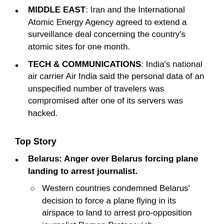MIDDLE EAST: Iran and the International Atomic Energy Agency agreed to extend a surveillance deal concerning the country's atomic sites for one month.
TECH & COMMUNICATIONS: India's national air carrier Air India said the personal data of an unspecified number of travelers was compromised after one of its servers was hacked.
Top Story
Belarus: Anger over Belarus forcing plane landing to arrest journalist.
Western countries condemned Belarus' decision to force a plane flying in its airspace to land to arrest pro-opposition journalist Roman Protasevich.